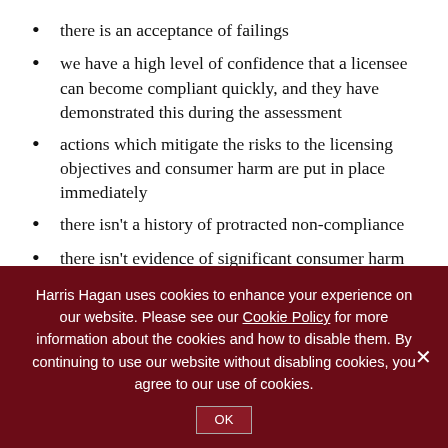there is an acceptance of failings
we have a high level of confidence that a licensee can become compliant quickly, and they have demonstrated this during the assessment
actions which mitigate the risks to the licensing objectives and consumer harm are put in place immediately
there isn't a history of protracted non-compliance
there isn't evidence of significant consumer harm
there is an offer to divest any profit made from non-compliance.
Harris Hagan uses cookies to enhance your experience on our website. Please see our Cookie Policy for more information about the cookies and how to disable them. By continuing to use our website without disabling cookies, you agree to our use of cookies.